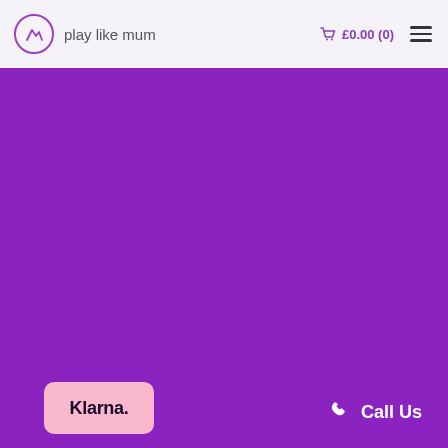play like mum  £0.00 (0)
[Figure (other): Large purple hero/banner section filling most of the page below the navigation header]
[Figure (logo): Klarna pink badge with bold black 'Klarna.' text in bottom-left of purple section]
Call Us